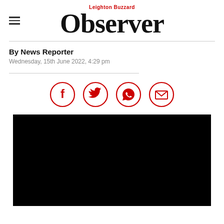Leighton Buzzard Observer
By News Reporter
Wednesday, 15th June 2022, 4:29 pm
[Figure (other): Social sharing icons: Facebook, Twitter, WhatsApp, Email — all in red circle outlines]
[Figure (photo): Black image placeholder (content not visible)]